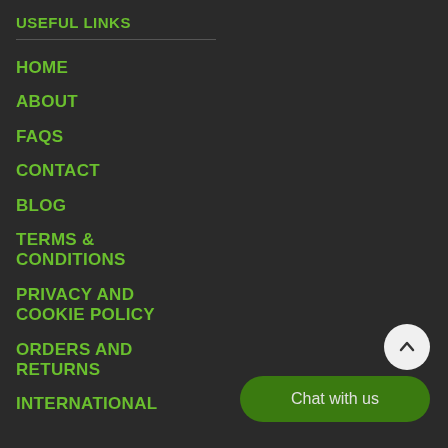USEFUL LINKS
HOME
ABOUT
FAQS
CONTACT
BLOG
TERMS & CONDITIONS
PRIVACY AND COOKIE POLICY
ORDERS AND RETURNS
INTERNATIONAL
Chat with us